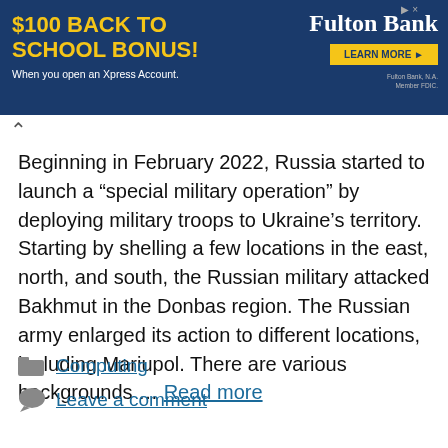[Figure (other): Fulton Bank advertisement banner. Blue background with yellow text '$100 BACK TO SCHOOL BONUS!' and white subtext 'When you open an Xpress Account.' Fulton Bank logo in white serif font on right with a yellow 'LEARN MORE >' button.]
Beginning in February 2022, Russia started to launch a “special military operation” by deploying military troops to Ukraine’s territory. Starting by shelling a few locations in the east, north, and south, the Russian military attacked Bakhmut in the Donbas region. The Russian army enlarged its action to different locations, including Mariupol. There are various backgrounds … Read more
Computing
Leave a comment